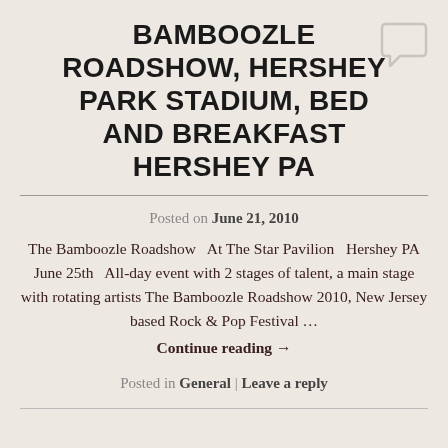BAMBOOZLE ROADSHOW, HERSHEY PARK STADIUM, BED AND BREAKFAST HERSHEY PA
[Figure (illustration): Speech bubble / comment icon in light gray, top right corner]
Posted on June 21, 2010
The Bamboozle Roadshow   At The Star Pavilion   Hershey PA June 25th   All-day event with 2 stages of talent, a main stage with rotating artists The Bamboozle Roadshow 2010, New Jersey based Rock & Pop Festival …
Continue reading →
Posted in General | Leave a reply